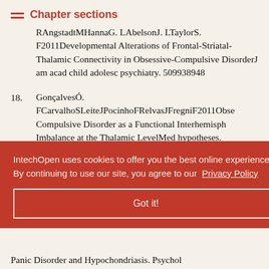Chapter sections
RAngstadtMHannaG. LAbelsonJ. LTaylorS. F2011Developmental Alterations of Frontal-Striatal-Thalamic Connectivity in Obsessive-Compulsive DisorderJ am acad child adolesc psychiatry. 509938948
18. GonçalvesÓ. FCarvalhoSLeiteJPocinhoFRelvasJFregniF2011Obsessive Compulsive Disorder as a Functional Interhemispheric Imbalance at the Thalamic LevelMed hypotheses. 773445447
IntechOpen uses cookies to offer you the best online experience. By continuing to use our site, you agree to our Privacy Policy
Got it!
, Zwitser G, ewegen H.J, Common ances in e Disorder, Panic Disorder and Hypochondriasis. Psychol